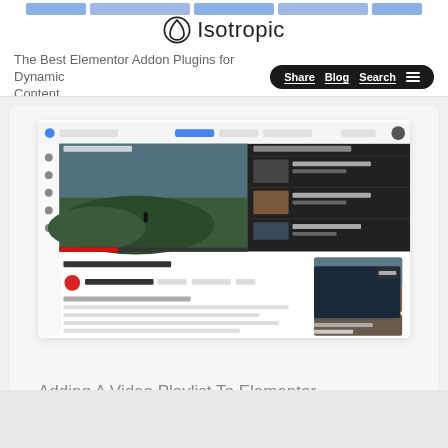[Figure (screenshot): Isotropic website header with logo and navigation pill showing Share, Blog, Search links and hamburger menu. Tagline reads: The Best Elementor Addon Plugins for Dynamic Content]
[Figure (screenshot): Screenshot of a video playlist interface embedded in a webpage, showing a video player on the left with a playlist sidebar on the right, and blog content below]
Adding A Video Playlist To Elementor